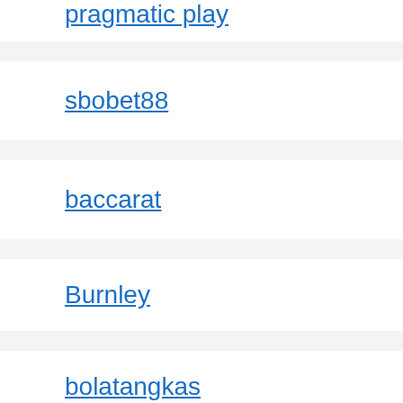pragmatic play
sbobet88
baccarat
Burnley
bolatangkas